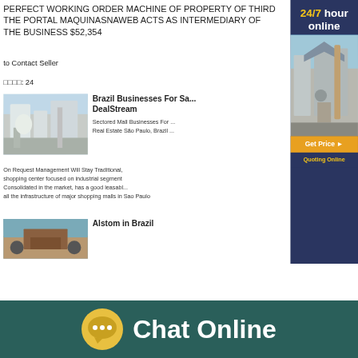PERFECT WORKING ORDER MACHINE OF PROPERTY OF THIRD THE PORTAL MAQUINASNAWEB ACTS AS INTERMEDIARY OF THE BUSINESS $52,354
to Contact Seller
□□□□: 24
[Figure (photo): Industrial machinery photo for Brazil Businesses listing]
Brazil Businesses For Sa... DealStream
Sectored Mall Businesses For ... Real Estate São Paulo, Brazil ... On Request Management Will Stay Traditional, shopping center focused on industrial segment ... Consolidated in the market, has a good leasabl... all the infrastructure of major shopping malls in Sao Paulo
[Figure (photo): Alstom in Brazil listing image showing road/landscape]
Alstom in Brazil
[Figure (infographic): Right side advertisement banner: 24/7 hour online, machinery image, Get Price button, Quoting Online]
Chat Online